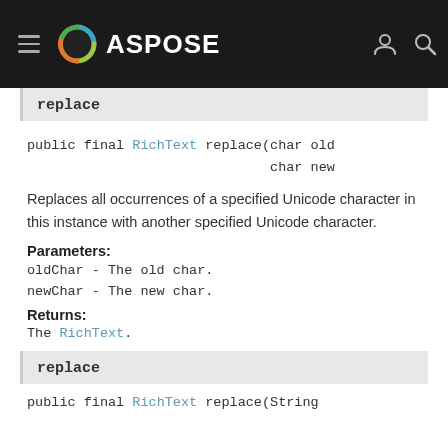ASPOSE
replace
public final RichText replace(char old
                              char new
Replaces all occurrences of a specified Unicode character in this instance with another specified Unicode character.
Parameters:
oldChar - The old char.
newChar - The new char.
Returns:
The RichText.
replace
public final RichText replace(String